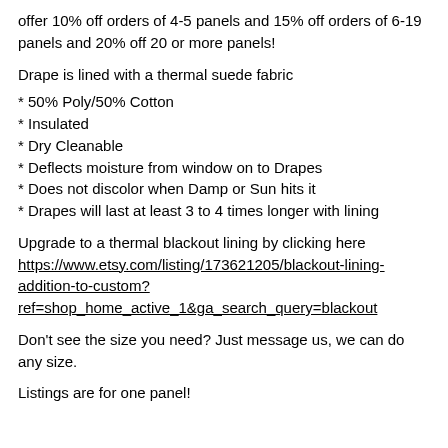offer 10% off orders of 4-5 panels and 15% off orders of 6-19 panels and 20% off 20 or more panels!
Drape is lined with a thermal suede fabric
* 50% Poly/50% Cotton
* Insulated
* Dry Cleanable
* Deflects moisture from window on to Drapes
* Does not discolor when Damp or Sun hits it
* Drapes will last at least 3 to 4 times longer with lining
Upgrade to a thermal blackout lining by clicking here https://www.etsy.com/listing/173621205/blackout-lining-addition-to-custom?ref=shop_home_active_1&ga_search_query=blackout
Don't see the size you need? Just message us, we can do any size.
Listings are for one panel!